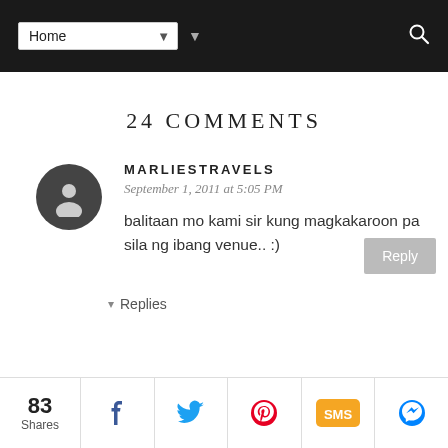Home [navigation bar]
24 COMMENTS
MARLIESTRAVELS
September 1, 2011 at 5:05 PM
balitaan mo kami sir kung magkakaroon pa sila ng ibang venue.. :)
▾ Replies
83 Shares